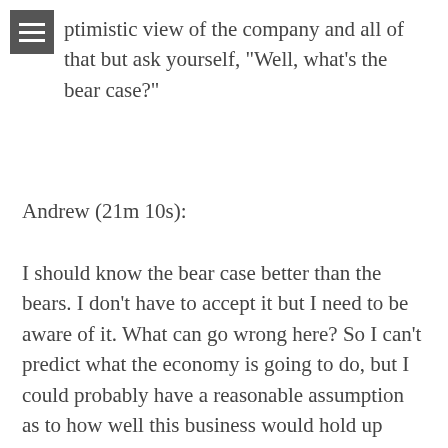ptimistic view of the company and all of that but ask yourself, "Well, what's the bear case?"
Andrew (21m 10s):
I should know the bear case better than the bears. I don't have to accept it but I need to be aware of it. What can go wrong here? So I can't predict what the economy is going to do, but I could probably have a reasonable assumption as to how well this business would hold up during a debt. So for example, two hypothetical companies, we have both of them making a million